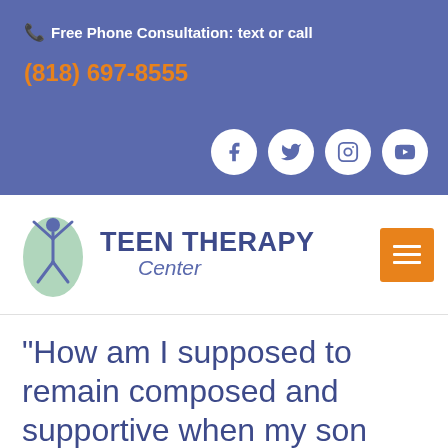📞 Free Phone Consultation: text or call
(818) 697-8555
[Figure (logo): Social media icons: Facebook, Twitter, Instagram, YouTube — white circles on blue banner]
[Figure (logo): Teen Therapy Center logo — stylized person figure with raised arms in green oval, bold blue text TEEN THERAPY with cursive Center below]
[Figure (other): Orange hamburger menu button with three white horizontal lines]
“How am I supposed to remain composed and supportive when my son